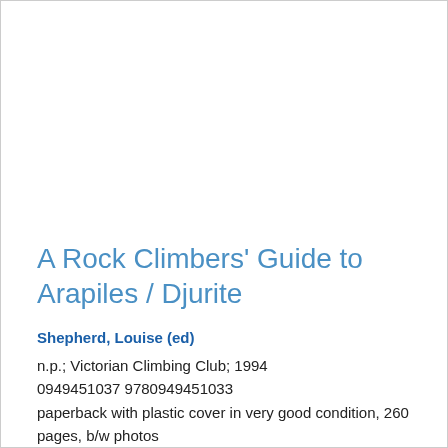A Rock Climbers' Guide to Arapiles / Djurite
Shepherd, Louise (ed)
n.p.; Victorian Climbing Club; 1994
0949451037 9780949451033
paperback with plastic cover in very good condition, 260 pages, b/w photos